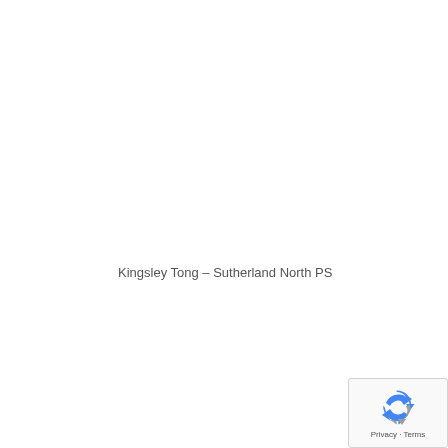Kingsley Tong – Sutherland North PS
[Figure (logo): Google reCAPTCHA badge with recycling-arrow icon and Privacy - Terms text]